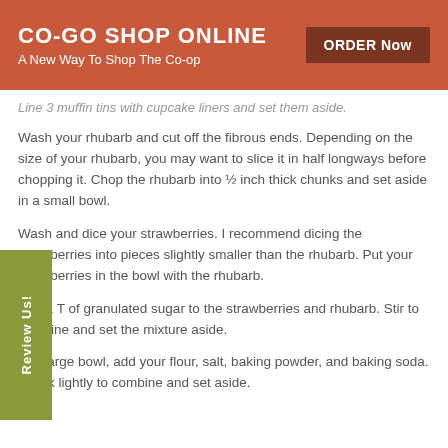CO-GO SHOP ONLINE
A New Way To Shop The Co-op
ORDER Now
Line 3 muffin tins with cupcake liners and set them aside.
Wash your rhubarb and cut off the fibrous ends. Depending on the size of your rhubarb, you may want to slice it in half longways before chopping it. Chop the rhubarb into ½ inch thick chunks and set aside in a small bowl.
Wash and dice your strawberries. I recommend dicing the strawberries into pieces slightly smaller than the rhubarb. Put your strawberries in the bowl with the rhubarb.
Add 1 T of granulated sugar to the strawberries and rhubarb. Stir to combine and set the mixture aside.
In a large bowl, add your flour, salt, baking powder, and baking soda. Whisk lightly to combine and set aside.